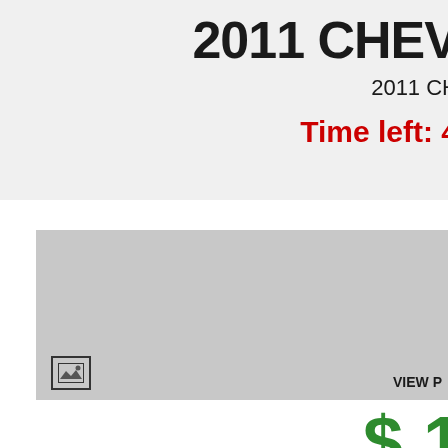2011 CHEV
2011 CH
Time left: 4
[Figure (photo): Gray placeholder image area for a vehicle photo with an image icon in bottom-left and VIEW label in bottom-right]
$ 1